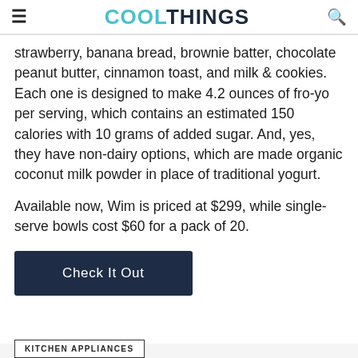≡  COOLTHINGS  🔍
strawberry, banana bread, brownie batter, chocolate peanut butter, cinnamon toast, and milk & cookies. Each one is designed to make 4.2 ounces of fro-yo per serving, which contains an estimated 150 calories with 10 grams of added sugar. And, yes, they have non-dairy options, which are made organic coconut milk powder in place of traditional yogurt.
Available now, Wim is priced at $299, while single-serve bowls cost $60 for a pack of 20.
Check It Out
KITCHEN APPLIANCES